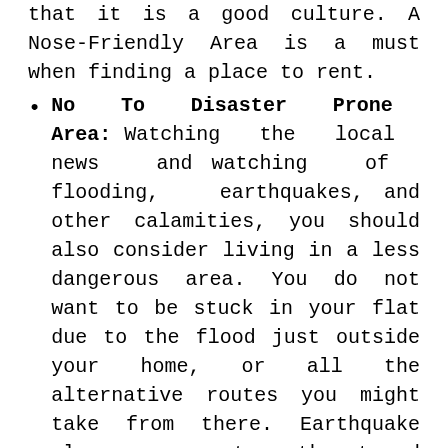that it is a good culture. A Nose-Friendly Area is a must when finding a place to rent.
No To Disaster Prone Area: Watching the local news and watching of flooding, earthquakes, and other calamities, you should also consider living in a less dangerous area. You do not want to be stuck in your flat due to the flood just outside your home, or all the alternative routes you might take from there. Earthquake always represents a threat and should be taken seriously.
Love Your Neighbors: Community plays a significant role in making your decision. You would not want to stay with people you really can't bear. You would not, of course, be able to recognize this without sitting there